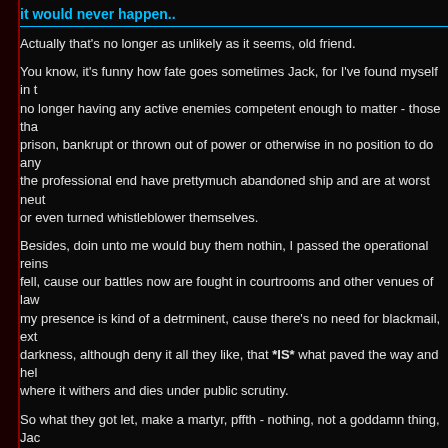it would never happen..
Actually that's no longer as unlikely as it seems, old friend.
You know, it's funny how fate goes sometimes Jack, for I've found myself in t no longer having any active enemies competent enough to matter - those tha prison, bankrupt or thrown out of power or otherwise in no position to do any the professional end have prettymuch abandoned ship and are at worst neut or even turned whistleblower themselves.
Besides, doin unto me would buy them nothin, I passed the operational reins fell, cause our battles now are fought in courtrooms and other venues of law my presence is kind of a detrminent, cause there's no need for blackmail, ext darkness, although deny it all they like, that *IS* what paved the way and hel where it withers and dies under public scrutiny.
So what they got let, make a martyr, pffth - nothing, not a goddamn thing, Jac Ergo I really got no need of the smoke and mirrors gig beyond the obligatory if something did happen to me, but honestly most of what I knew already *HA these days got far bigger problems to deal with, meh.
Thus if you check your messages, you'll find a dropbox for email, cause I wo ya myself, although I regret to inform you that 30yr old bottle of scotch I had v
well..
-Frem
I do not serve the Blind God.